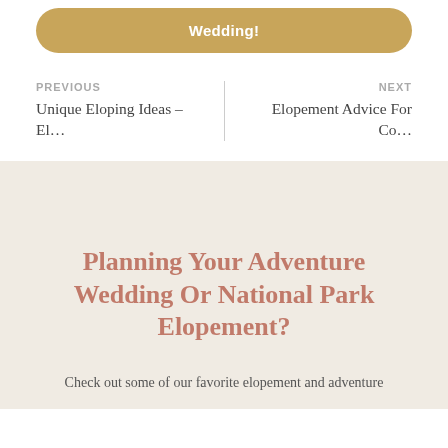[Figure (other): Gold/tan rounded button with bold white text reading 'Wedding!']
PREVIOUS
Unique Eloping Ideas – El…
NEXT
Elopement Advice For Co…
Planning Your Adventure Wedding Or National Park Elopement?
Check out some of our favorite elopement and adventure